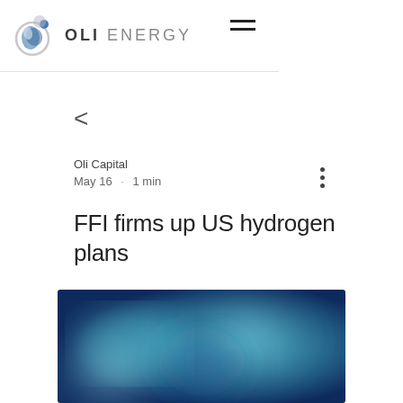OLI ENERGY
<
Oli Capital
May 16 · 1 min
FFI firms up US hydrogen plans
[Figure (photo): Abstract blurred blue and teal gradient image, possibly representing water or energy]